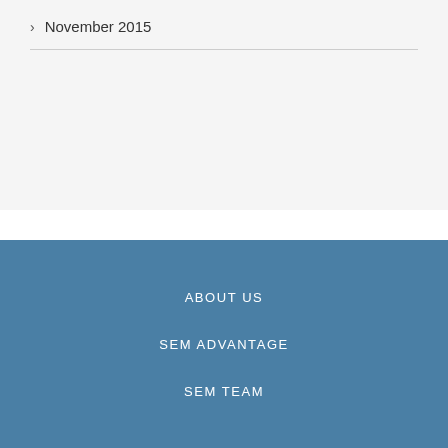November 2015
ABOUT US
SEM ADVANTAGE
SEM TEAM